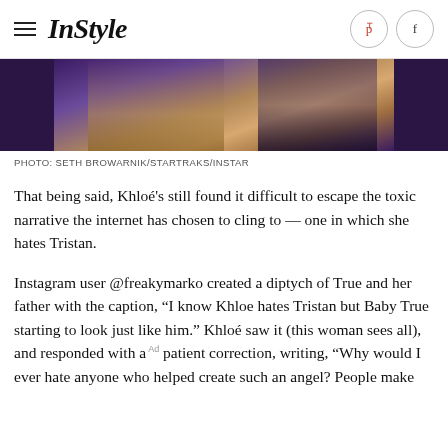InStyle
[Figure (photo): Cropped photo showing hands and partial figure against dark blue/purple background]
PHOTO: SETH BROWARNIK/STARTRAKS/INSTAR
That being said, Khloé's still found it difficult to escape the toxic narrative the internet has chosen to cling to — one in which she hates Tristan.
Instagram user @freakymarko created a diptych of True and her father with the caption, “I know Khloe hates Tristan but Baby True starting to look just like him.” Khloé saw it (this woman sees all), and responded with a patient correction, writing, “Why would I ever hate anyone who helped create such an angel? People make